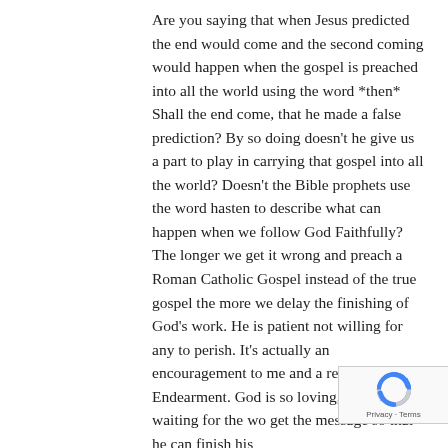Are you saying that when Jesus predicted the end would come and the second coming would happen when the gospel is preached into all the world using the word *then* Shall the end come, that he made a false prediction? By so doing doesn't he give us a part to play in carrying that gospel into all the world? Doesn't the Bible prophets use the word hasten to describe what can happen when we follow God Faithfully? The longer we get it wrong and preach a Roman Catholic Gospel instead of the true gospel the more we delay the finishing of God's work. He is patient not willing for any to perish. It's actually an encouragement to me and a reason for Endearment. God is so loving, so kind, waiting for the wo get the message so that he can finish his